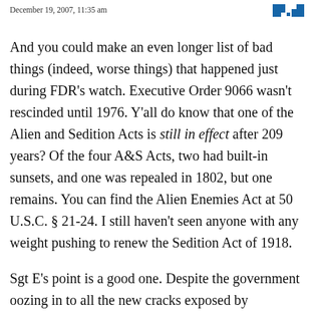December 19, 2007, 11:35 am
And you could make an even longer list of bad things (indeed, worse things) that happened just during FDR's watch. Executive Order 9066 wasn't rescinded until 1976. Y'all do know that one of the Alien and Sedition Acts is still in effect after 209 years? Of the four A&S Acts, two had built-in sunsets, and one was repealed in 1802, but one remains. You can find the Alien Enemies Act at 50 U.S.C. § 21-24. I still haven't seen anyone with any weight pushing to renew the Sedition Act of 1918.
Sgt E's point is a good one. Despite the government oozing in to all the new cracks exposed by technology, it's the nibbling of ducks compared to the historical record. What scares us isn't the actual events so much as the potentials they expose.